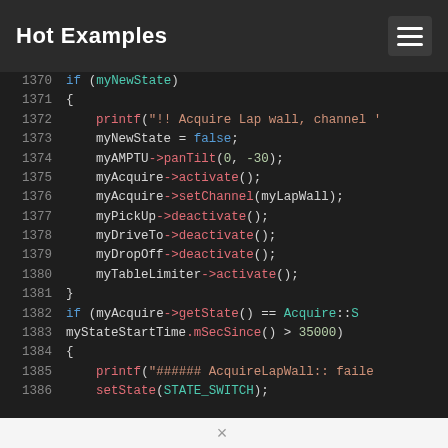Hot Examples
[Figure (screenshot): Code editor screenshot showing C++ source code lines 1370-1386 with syntax highlighting on dark background]
×